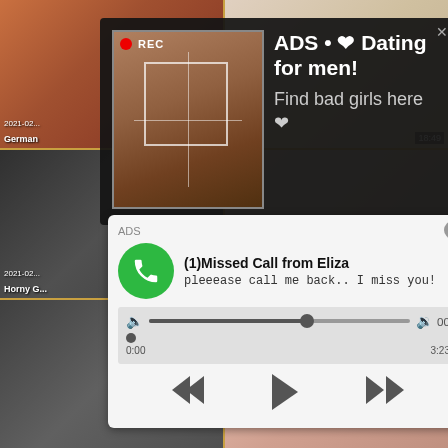[Figure (screenshot): Background grid of adult video thumbnails with timestamps and labels including '2021-0...', 'German', 'Horny G', '18:49', '8:00']
[Figure (screenshot): Ad overlay 1: Dark semi-transparent popup with REC indicator, selfie photo of woman, and text 'ADS • ❤ Dating for men! Find bad girls here ❤']
[Figure (screenshot): Ad overlay 2: Fake phone notification showing '(1)Missed Call from Eliza' with green phone icon, audio player bar showing 0:00 to 3:23, and transport controls (rewind, play, fast-forward)]